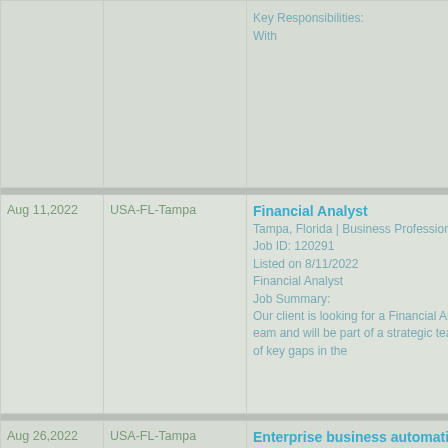| Date | Location | Job Details |
| --- | --- | --- |
|  |  | Key Responsibilities:
With |
| Aug 11,2022 | USA-FL-Tampa | Financial Analyst
Tampa, Florida | Business Professional
Job ID: 120291
Listed on 8/11/2022
Financial Analyst
Job Summary:
Our client is looking for a Financial Ana eam and will be part of a strategic team on of key gaps in the |
| Aug 26,2022 | USA-FL-Tampa | Enterprise business automatio
If you post this job on a job board, plea

Experience level: Director Experience s degree Job function: Information Tec sation: View salary Total position: 1 Re |
| Aug 10,2022 | USA-FL-T... | Credit Collections Analyst |